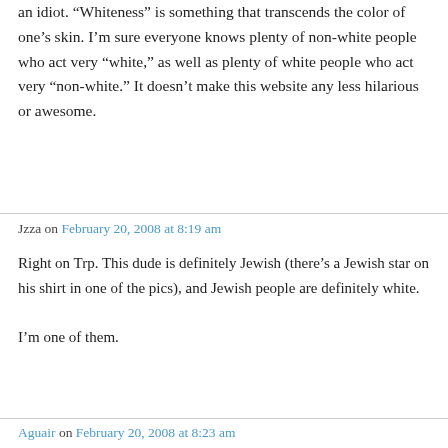an idiot. “Whiteness” is something that transcends the color of one’s skin. I’m sure everyone knows plenty of non-white people who act very “white,” as well as plenty of white people who act very “non-white.” It doesn’t make this website any less hilarious or awesome.
Jzza on February 20, 2008 at 8:19 am
Right on Trp. This dude is definitely Jewish (there’s a Jewish star on his shirt in one of the pics), and Jewish people are definitely white.

I’m one of them.
Aguair on February 20, 2008 at 8:23 am